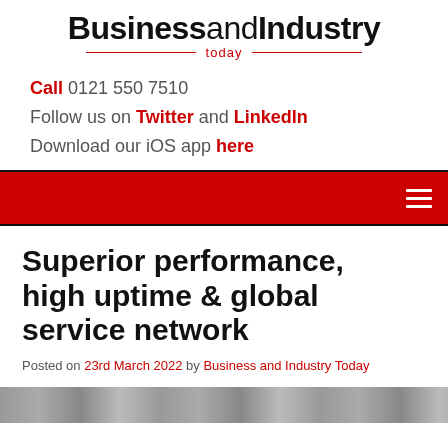BusinessandIndustry today
Call 0121 550 7510
Follow us on Twitter and LinkedIn
Download our iOS app here
[Figure (other): Red navigation bar with hamburger menu icon on the right]
Superior performance, high uptime & global service network
Posted on 23rd March 2022 by Business and Industry Today
[Figure (photo): Partial image strip at bottom of page, cropped]